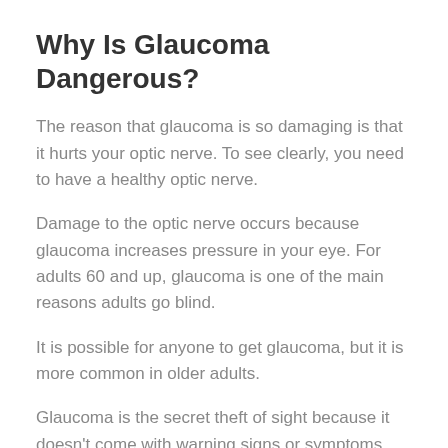Why Is Glaucoma Dangerous?
The reason that glaucoma is so damaging is that it hurts your optic nerve. To see clearly, you need to have a healthy optic nerve.
Damage to the optic nerve occurs because glaucoma increases pressure in your eye. For adults 60 and up, glaucoma is one of the main reasons adults go blind.
It is possible for anyone to get glaucoma, but it is more common in older adults.
Glaucoma is the secret theft of sight because it doesn't come with warning signs or symptoms. Most do not notice any issues with their vision until